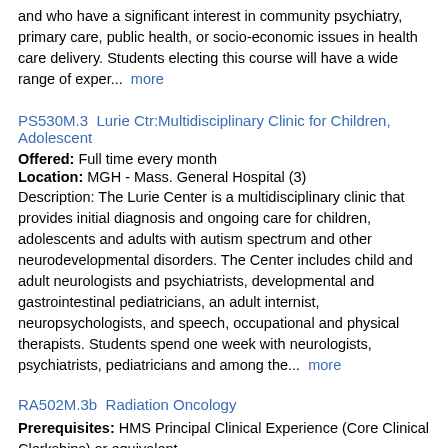and who have a significant interest in community psychiatry, primary care, public health, or socio-economic issues in health care delivery. Students electing this course will have a wide range of exper...  more
PS530M.3  Lurie Ctr:Multidisciplinary Clinic for Children, Adolescent
Offered: Full time every month
Location: MGH - Mass. General Hospital (3)
Description: The Lurie Center is a multidisciplinary clinic that provides initial diagnosis and ongoing care for children, adolescents and adults with autism spectrum and other neurodevelopmental disorders. The Center includes child and adult neurologists and psychiatrists, developmental and gastrointestinal pediatricians, an adult internist, neuropsychologists, and speech, occupational and physical therapists. Students spend one week with neurologists, psychiatrists, pediatricians and among the...  more
RA502M.3b  Radiation Oncology
Prerequisites: HMS Principal Clinical Experience (Core Clinical Clerkships) or equivalent